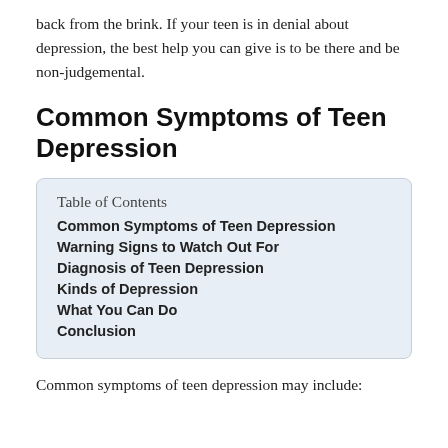back from the brink. If your teen is in denial about depression, the best help you can give is to be there and be non-judgemental.
Common Symptoms of Teen Depression
| Table of Contents |
| --- |
| Common Symptoms of Teen Depression |
| Warning Signs to Watch Out For |
| Diagnosis of Teen Depression |
| Kinds of Depression |
| What You Can Do |
| Conclusion |
Common symptoms of teen depression may include: